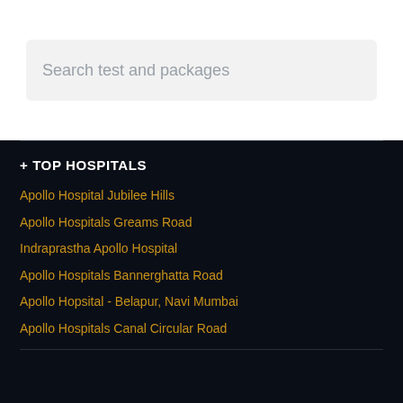Search test and packages
+ TOP HOSPITALS
Apollo Hospital Jubilee Hills
Apollo Hospitals Greams Road
Indraprastha Apollo Hospital
Apollo Hospitals Bannerghatta Road
Apollo Hopsital - Belapur, Navi Mumbai
Apollo Hospitals Canal Circular Road